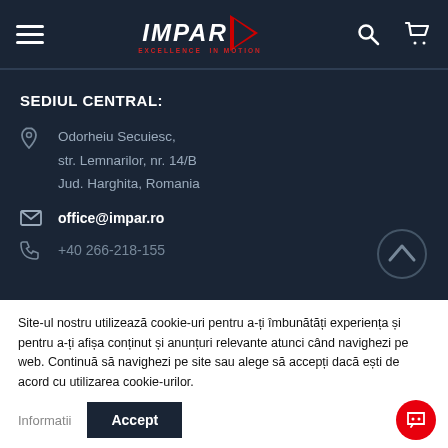IMPAR — EXCELLENCE IN MOTION — navigation bar with hamburger menu, logo, search and cart icons
SEDIUL CENTRAL:
Odorheiu Secuiesc, str. Lemnarilor, nr. 14/B Jud. Harghita, Romania
office@impar.ro
+40 266-218-155
Site-ul nostru utilizează cookie-uri pentru a-ți îmbunătăți experiența și pentru a-ți afișa conținut și anunțuri relevante atunci când navighezi pe web. Continuă să navighezi pe site sau alege să accepți dacă ești de acord cu utilizarea cookie-urilor.
Informatii
Accept